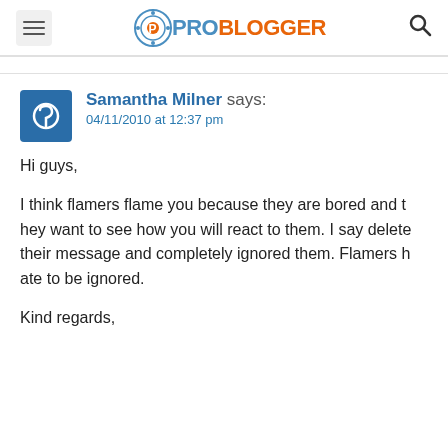ProBlogger
Samantha Milner says:
04/11/2010 at 12:37 pm

Hi guys,

I think flamers flame you because they are bored and they want to see how you will react to them. I say delete their message and completely ignored them. Flamers hate to be ignored.

Kind regards,